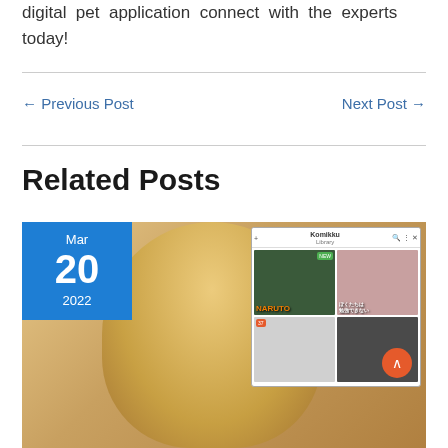digital pet application connect with the experts today!
← Previous Post
Next Post →
Related Posts
[Figure (photo): Blog thumbnail showing an anime character (blonde girl) alongside a Komikku manga reader app screenshot, with a date badge showing Mar 20 2022]